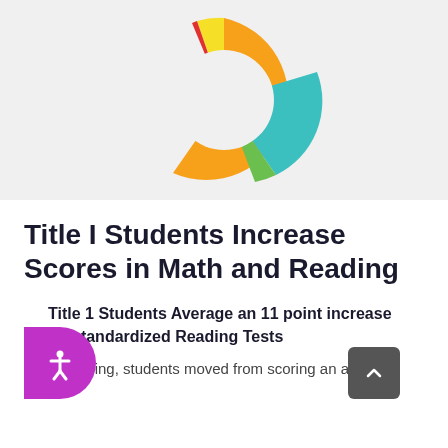[Figure (donut-chart): Partial donut chart visible at top of page with segments in orange (largest), teal/cyan, yellow, green, and red]
Title I Students Increase Scores in Math and Reading
Title 1 Students Average an 11 point increase on standardized Reading Tests
In reading, students moved from scoring an average of